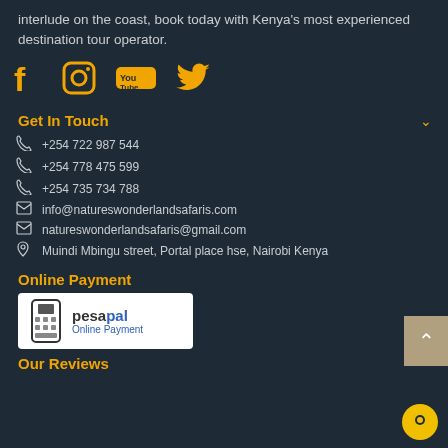interlude on the coast, book today with Kenya's most experienced destination tour operator.
[Figure (illustration): Social media icons: Facebook, Instagram, YouTube, Twitter in gold/yellow color on dark background]
Get In Touch
+254 722 987 544
+254 778 475 599
+254 735 734 788
info@natureswonderlandsafaris.com
natureswonderlandsafaris@gmail.com
Muindi Mbingu street, Portal place hse, Nairobi Kenya
Online Payment
[Figure (logo): Pesapal Online Payment logo - white box with mobile phone icon and pesapal text in blue and black]
Our Reviews